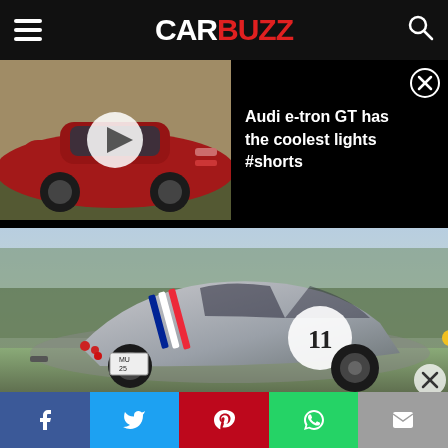CARBUZZ
[Figure (screenshot): Video thumbnail of red Audi e-tron GT car from rear side, with play button overlay]
Audi e-tron GT has the coolest lights #shorts
[Figure (photo): Silver Ferrari 250 GTO classic racing car with number 11 and French tricolor stripe, shown from rear three-quarter view at a concours event]
Social share buttons: Facebook, Twitter, Pinterest, WhatsApp, Email